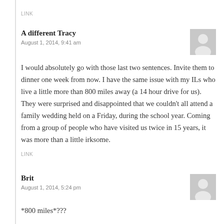LINK
A different Tracy
August 1, 2014, 9:41 am
I would absolutely go with those last two sentences. Invite them to dinner one week from now. I have the same issue with my ILs who live a little more than 800 miles away (a 14 hour drive for us). They were surprised and disappointed that we couldn’t all attend a family wedding held on a Friday, during the school year. Coming from a group of people who have visited us twice in 15 years, it was more than a little irksome.
LINK
Brit
August 1, 2014, 5:24 pm
*800 miles*???